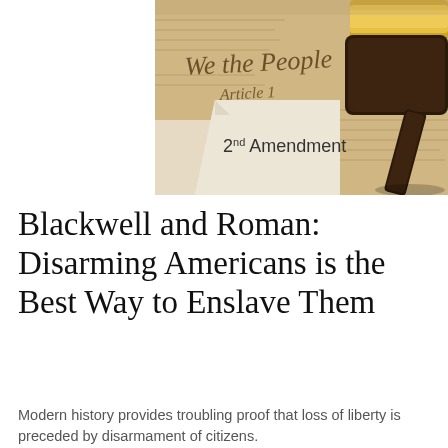[Figure (photo): Photo showing the U.S. Constitution with 'We the People' and 'Article 1' visible, a document labeled '2nd Amendment', and a judge's wooden gavel with gold band, on a parchment background.]
Blackwell and Roman: Disarming Americans is the Best Way to Enslave Them
Modern history provides troubling proof that loss of liberty is preceded by disarmament of citizens.